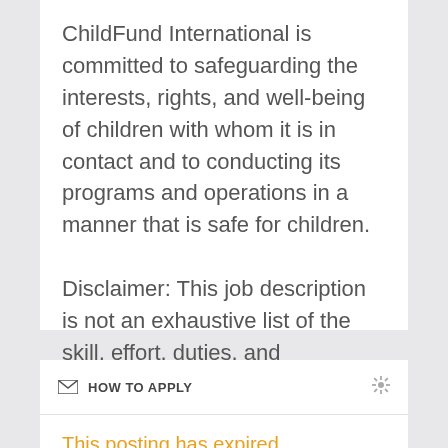ChildFund International is committed to safeguarding the interests, rights, and well-being of children with whom it is in contact and to conducting its programs and operations in a manner that is safe for children.

Disclaimer: This job description is not an exhaustive list of the skill, effort, duties, and responsibilities associated with the position.
HOW TO APPLY
This posting has expired.